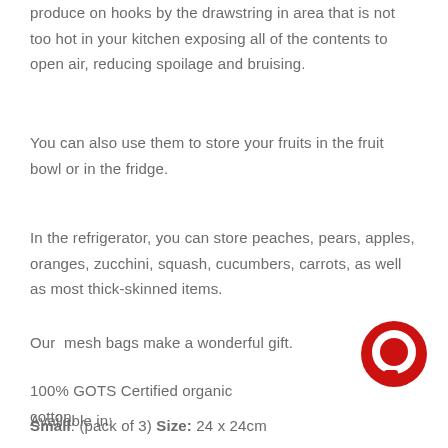produce on hooks by the drawstring in area that is not too hot in your kitchen exposing all of the contents to open air, reducing spoilage and bruising.
You can also use them to store your fruits in the fruit bowl or in the fridge.
In the refrigerator, you can store peaches, pears, apples, oranges, zucchini, squash, cucumbers, carrots, as well as most thick-skinned items.
Our  mesh bags make a wonderful gift.
100% GOTS Certified organic cotton.
Available in:
[Figure (logo): Red circular ring logo (chat bubble or brand logo)]
Small: (pack of 3) Size: 24 x 24cm